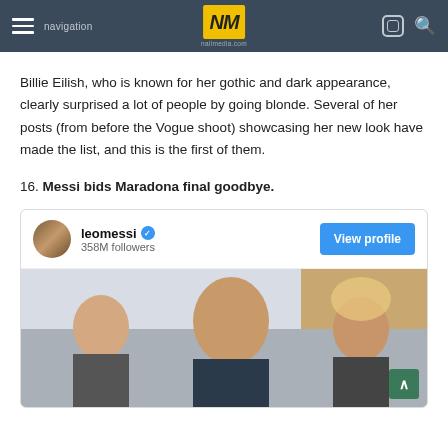NM nailmedia.com
Billie Eilish, who is known for her gothic and dark appearance, clearly surprised a lot of people by going blonde. Several of her posts (from before the Vogue shoot) showcasing her new look have made the list, and this is the first of them.
16. Messi bids Maradona final goodbye.
[Figure (screenshot): Instagram embed card for leomessi with 358M followers, a View profile button, and a photo showing two men smiling.]